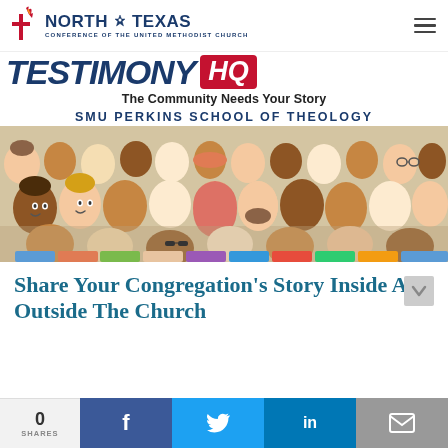North Texas Conference of the United Methodist Church
TESTIMONY HQ
The Community Needs Your Story
SMU PERKINS SCHOOL OF THEOLOGY
[Figure (illustration): Illustrated crowd of diverse people of various ages, ethnicities, and backgrounds tightly packed together, shown from the shoulders up.]
Share Your Congregation's Story Inside And Outside The Church
0 SHARES | Facebook | Twitter | LinkedIn | Email